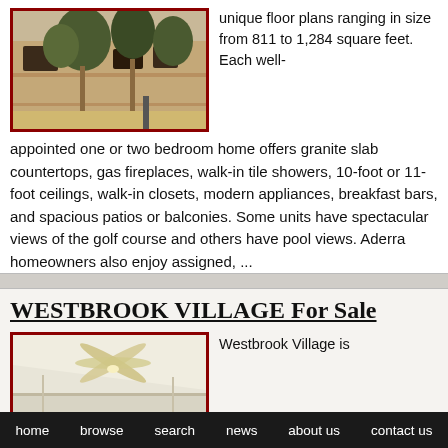[Figure (photo): Exterior photo of a multi-story residential building with trees and balconies, dark brown/adobe style, red border]
unique floor plans ranging in size from 811 to 1,284 square feet. Each well-appointed one or two bedroom home offers granite slab countertops, gas fireplaces, walk-in tile showers, 10-foot or 11-foot ceilings, walk-in closets, modern appliances, breakfast bars, and spacious patios or balconies. Some units have spectacular views of the golf course and others have pool views. Aderra homeowners also enjoy assigned, ...
WESTBROOK VILLAGE For Sale
[Figure (photo): Interior photo of a room with a ceiling fan, light-colored walls and ceiling, red border]
Westbrook Village is
home   browse   search   news   about us   contact us